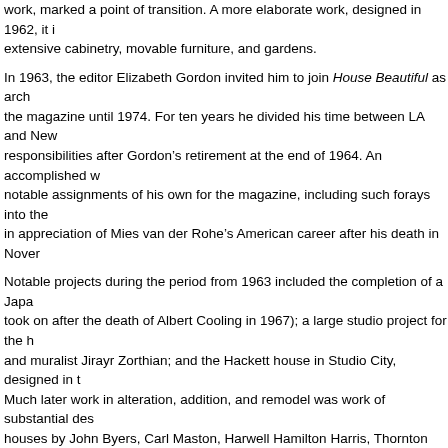work, marked a point of transition. A more elaborate work, designed in 1962, it included extensive cabinetry, movable furniture, and gardens.
In 1963, the editor Elizabeth Gordon invited him to join House Beautiful as arch the magazine until 1974. For ten years he divided his time between LA and New responsibilities after Gordon’s retirement at the end of 1964. An accomplished w notable assignments of his own for the magazine, including such forays into the in appreciation of Mies van der Rohe’s American career after his death in Nover
Notable projects during the period from 1963 included the completion of a Japa took on after the death of Albert Cooling in 1967); a large studio project for the h and muralist Jirayr Zorthian; and the Hackett house in Studio City, designed in t Much later work in alteration, addition, and remodel was work of substantial des houses by John Byers, Carl Maston, Harwell Hamilton Harris, Thornton Abell ar sites as the Glen Tavern Hotel in Santa Paula. These restoration and remodelling to the original design and were widely published in the 1970s and 80s. National the Frager barn in the Berkshires into a studio for a musician and composer and 1920s southern California houses in the Andalusian manner.
De Long seems to have gathered photographs and other material related to Fra reflections from at least the late 1970s onwards; and he played a large role as c Taliesin Fellows from its founding in 1990 serving as editorial advisor from 1996 effectively ended his editorial and architectural career. His two small houses on Scholfield were honored as Los Angeles City cultural monuments in 1995, and h Award from the L.A. Conservancy in 2011.
- Nicholas Olsberg
Scope and Contents note